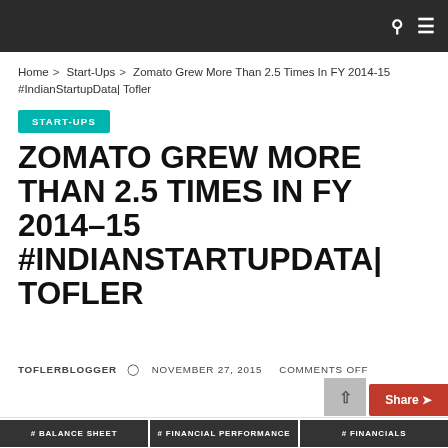Navigation bar with search and menu icons
Home > Start-Ups > Zomato Grew More Than 2.5 Times In FY 2014-15 #IndianStartupData| Tofler
START-UPS
ZOMATO GREW MORE THAN 2.5 TIMES IN FY 2014-15 #INDIANSTARTUPDATA| TOFLER
TOFLERBLOGGER  ⊙  NOVEMBER 27, 2015    COMMENTS OFF
# BALANCE SHEET    # FINANCIAL PERFORMANCE    # FINANCIALS